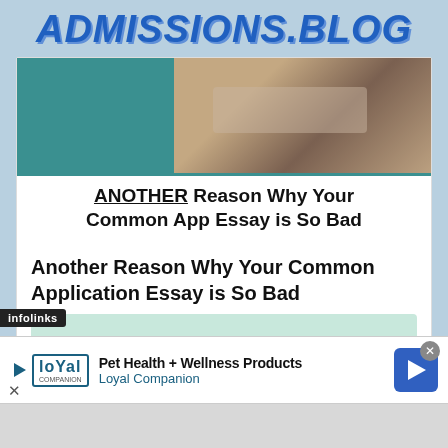ADMISSIONS.BLOG
[Figure (screenshot): Blog post thumbnail showing a person using a laptop, with teal color block on left. Overlay text reads: ANOTHER Reason Why Your Common App Essay is So Bad]
Another Reason Why Your Common Application Essay is So Bad
[Figure (illustration): Light green/mint background card with text: Early Action & Early Decision]
infolinks
Pet Health + Wellness Products
Loyal Companion